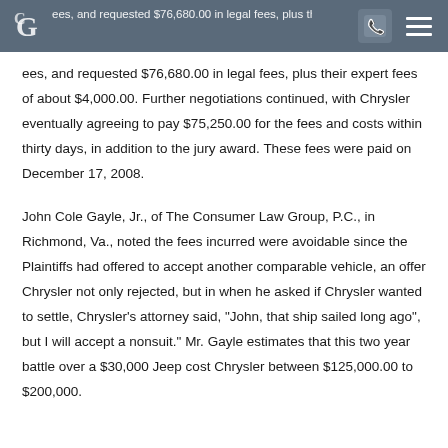CG [logo] [phone icon] [menu icon]
ees, and requested $76,680.00 in legal fees, plus their expert fees of about $4,000.00. Further negotiations continued, with Chrysler eventually agreeing to pay $75,250.00 for the fees and costs within thirty days, in addition to the jury award. These fees were paid on December 17, 2008.

John Cole Gayle, Jr., of The Consumer Law Group, P.C., in Richmond, Va., noted the fees incurred were avoidable since the Plaintiffs had offered to accept another comparable vehicle, an offer Chrysler not only rejected, but in when he asked if Chrysler wanted to settle, Chrysler's attorney said, "John, that ship sailed long ago", but I will accept a nonsuit. Mr. Gayle estimates that this two year battle over a $30,000 Jeep cost Chrysler between $125,000.00 to $200,000.